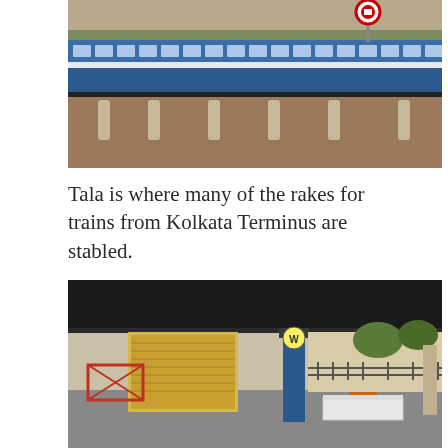[Figure (photo): Blue and white Indian passenger train cars (rakes) stabled at Tala yard, viewed from across a wide open reddish-brown ground area. A circular sign (possibly railway logo) is visible on a pole above the train. Green trees visible in the background.]
Tala is where many of the rakes for trains from Kolkata Terminus are stabled.
[Figure (photo): Interior of a mostly empty railway station platform/waiting area, covered by a dark roof. A person in orange clothing sits on a white tiled bench beside a blue pillar. A yellow and red shuttered shop is visible in the background. A railway sign (W) is visible on the pillar. Fencing and trees are seen in the background through open sides.]